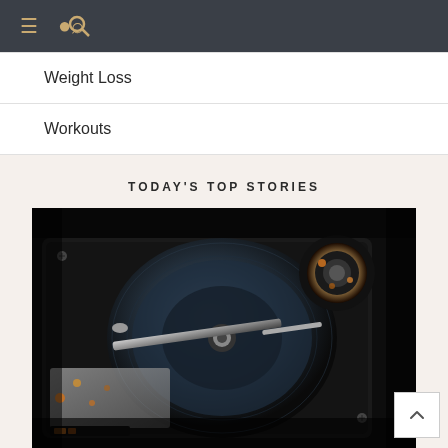≡ 🔍
Weight Loss
Workouts
TODAY'S TOP STORIES
[Figure (photo): Close-up macro photograph of an open hard disk drive (HDD) showing the read/write arm, platters, and spindle motor with orange/amber glowing elements against a dark background.]